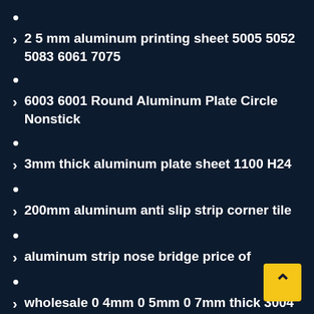•
> 2 5 mm aluminum printing sheet 5005 5052 5083 6061 7075
•
> 6003 6001 Round Aluminum Plate Circle Nonstick
•
> 3mm thick aluminum plate sheet 1100 H24
•
> 200mm aluminum anti slip strip corner tile
•
> aluminum strip nose bridge price of
•
> wholesale 0 4mm 0 5mm 0 7mm thick 3004 aluminum sheet meatal plate
•
> 3 mm aluminum plate for sale